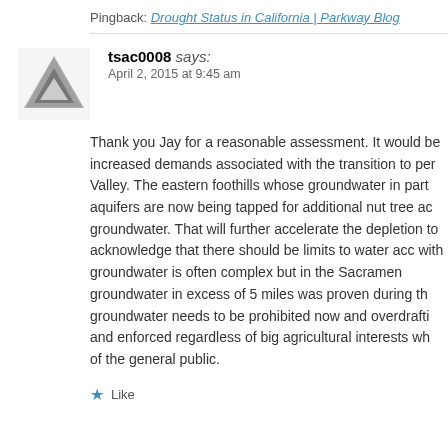Pingback: Drought Status in California | Parkway Blog
tsac0008 says:
April 2, 2015 at 9:45 am
Thank you Jay for a reasonable assessment. It would be increased demands associated with the transition to per Valley. The eastern foothills whose groundwater in part aquifers are now being tapped for additional nut tree ac groundwater. That will further accelerate the depletion to acknowledge that there should be limits to water acc with groundwater is often complex but in the Sacramen groundwater in excess of 5 miles was proven during th groundwater needs to be prohibited now and overdrafti and enforced regardless of big agricultural interests wh of the general public.
Like